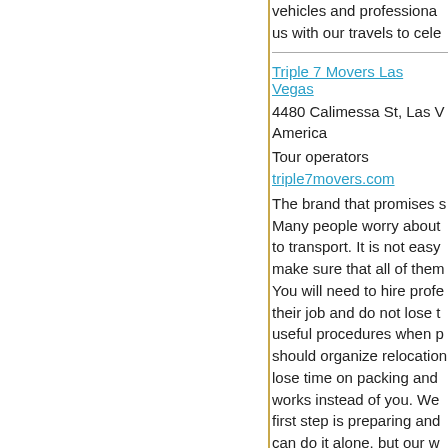vehicles and professional... us with our travels to cele...
Triple 7 Movers Las Vegas
4480 Calimessa St, Las V... America
Tour operators
triple7movers.com
The brand that promises s... Many people worry about... to transport. It is not easy... make sure that all of them... You will need to hire profe... their job and do not lose t... useful procedures when p... should organize relocation... lose time on packing and ... works instead of you. We... first step is preparing and ... can do it alone, but our w... leave that job to them, yo... more important things whe... each item in a special box... it carefully with proper pac... moving easier and better...